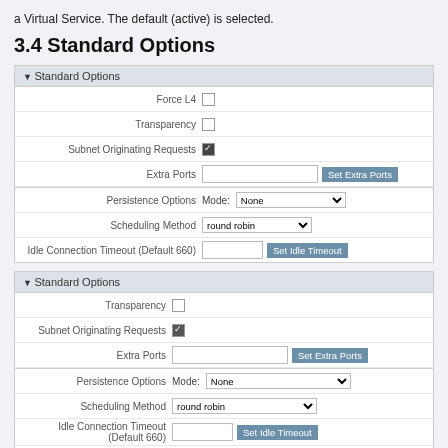a Virtual Service. The default (active) is selected.
3.4 Standard Options
[Figure (screenshot): Screenshot of first Standard Options panel with form fields: Force L4 (unchecked), Transparency (unchecked), Subnet Originating Requests (checked), Extra Ports (text input + Set Extra Ports button), Persistence Options (Mode: None dropdown), Scheduling Method (round robin dropdown), Idle Connection Timeout Default 660 (text input + Set Idle Timeout button)]
[Figure (screenshot): Screenshot of second Standard Options panel with form fields: Transparency (unchecked), Subnet Originating Requests (checked), Extra Ports (text input + Set Extra Ports button), Persistence Options (Mode: None dropdown), Scheduling Method (round robin dropdown), Idle Connection Timeout Default 660 (text input + Set Idle Timeout button), Use Address for Server NAT (unchecked), Quality of Service (Normal-Service dropdown)]
Force L4